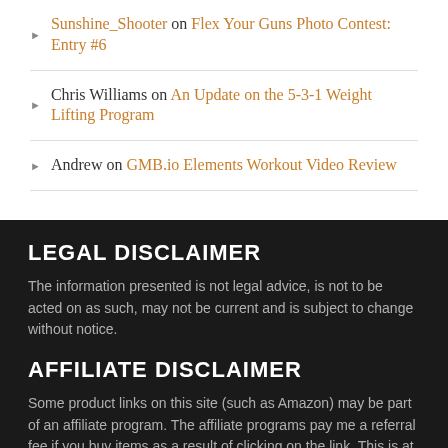Sunshine_Shooter on Flex Your Guns Photo Contest: Entry #6
Chris Williams on An Update on the 5-3-1 Weight Lifting Program
Andrew on GMB.io Elements Workout Video Review
LEGAL DISCLAIMER
The information presented is not legal advice, is not to be acted on as such, may not be current and is subject to change without notice.
AFFILIATE DISCLAIMER
Some product links on this site (such as Amazon) may be part of an affiliate program. The affiliate programs pay me a referral fee if you buy items as a result of clicking on the link. This is at no charge to you.
The affiliate programs involvement does not impact the product linked...